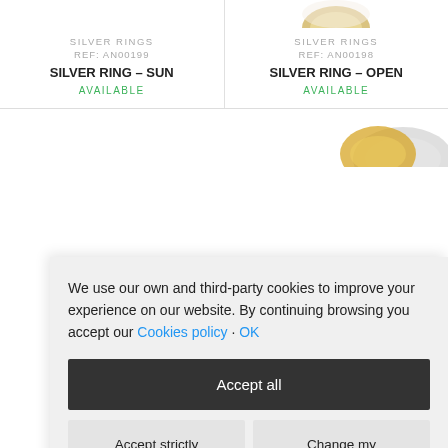[Figure (photo): Partial product image of silver ring (SUN) at top left]
SILVER RINGS
REF: AN00199
SILVER RING – SUN
AVAILABLE
[Figure (photo): Partial product image of silver ring (OPEN) at top right, gold-tinted]
SILVER RINGS
REF: AN00198
SILVER RING – OPEN
AVAILABLE
[Figure (photo): Partial product image of a ring at bottom right, partially obscured by cookie modal]
We use our own and third-party cookies to improve your experience on our website. By continuing browsing you accept our Cookies policy · OK
Accept all
Accept strictly necessary
Change my preferences